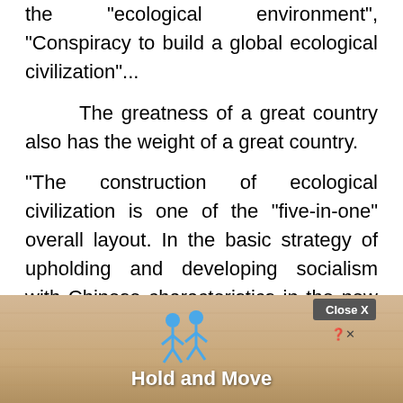the "ecological environment", "Conspiracy to build a global ecological civilization"...
The greatness of a great country also has the weight of a great country.
"The construction of ecological civilization is one of the "five-in-one" overall layout. In the basic strategy of upholding and developing socialism with Chinese characteristics in the new era, adhering to the harmonious coexistence of man and nature is one of the basic strategies. In the new development concept, green is one of the basic strategies. One of the big ideas, pollution prevention and control...
[Figure (other): Ad overlay banner at bottom of page showing 'Hold and Move' text with animated figures icon, Close X button, and help/close icons.]